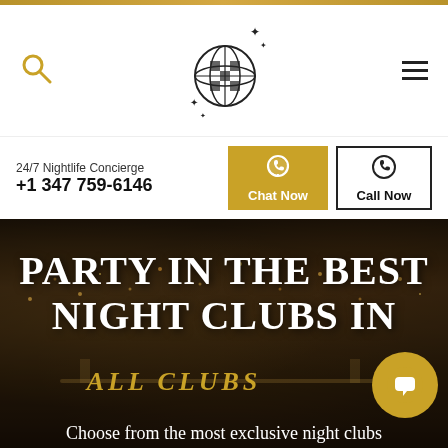24/7 Nightlife Concierge | +1 347 759-6146 | Chat Now | Call Now
[Figure (logo): Disco ball globe logo with sparkles, centered in navigation header]
PARTY IN THE BEST NIGHT CLUBS IN
ALL CLUBS
Choose from the most exclusive night clubs